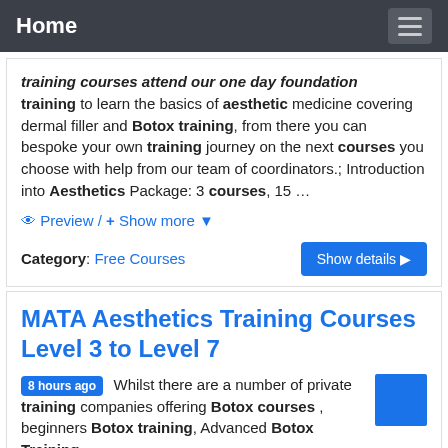Home
training courses attend our one day foundation training to learn the basics of aesthetic medicine covering dermal filler and Botox training, from there you can bespoke your own training journey on the next courses you choose with help from our team of coordinators.; Introduction into Aesthetics Package: 3 courses, 15 …
Preview / + Show more
Category: Free Courses
MATA Aesthetics Training Courses Level 3 to Level 7
8 hours ago Whilst there are a number of private training companies offering Botox courses , beginners Botox training, Advanced Botox Training